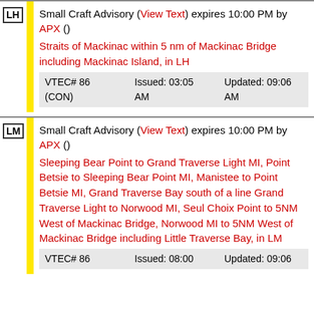LH — Small Craft Advisory (View Text) expires 10:00 PM by APX () Straits of Mackinac within 5 nm of Mackinac Bridge including Mackinac Island, in LH VTEC# 86 (CON) Issued: 03:05 AM Updated: 09:06 AM
LM — Small Craft Advisory (View Text) expires 10:00 PM by APX () Sleeping Bear Point to Grand Traverse Light MI, Point Betsie to Sleeping Bear Point MI, Manistee to Point Betsie MI, Grand Traverse Bay south of a line Grand Traverse Light to Norwood MI, Seul Choix Point to 5NM West of Mackinac Bridge, Norwood MI to 5NM West of Mackinac Bridge including Little Traverse Bay, in LM VTEC# 86 Issued: 08:00 Updated: 09:06